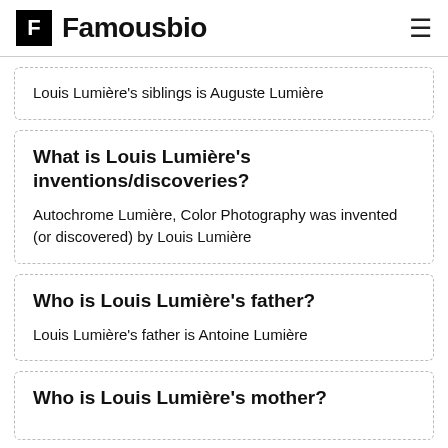F Famousbio
Louis Lumière's siblings is Auguste Lumière
What is Louis Lumière's inventions/discoveries?
Autochrome Lumière, Color Photography was invented (or discovered) by Louis Lumière
Who is Louis Lumière's father?
Louis Lumière's father is Antoine Lumière
Who is Louis Lumière's mother?